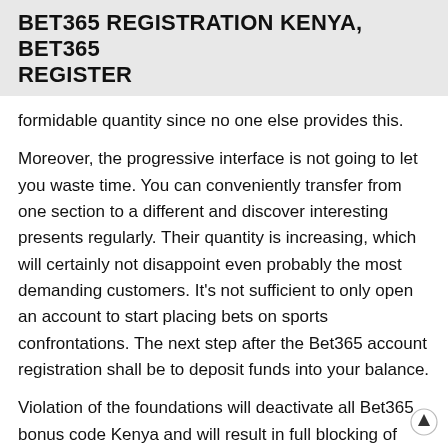BET365 REGISTRATION KENYA, BET365 REGISTER
formidable quantity since no one else provides this.
Moreover, the progressive interface is not going to let you waste time. You can conveniently transfer from one section to a different and discover interesting presents regularly. Their quantity is increasing, which will certainly not disappoint even probably the most demanding customers. It's not sufficient to only open an account to start placing bets on sports confrontations. The next step after the Bet365 account registration shall be to deposit funds into your balance.
Violation of the foundations will deactivate all Bet365 bonus code Kenya and will result in full blocking of your sport account without the risk of its recovery. Der Vorgang